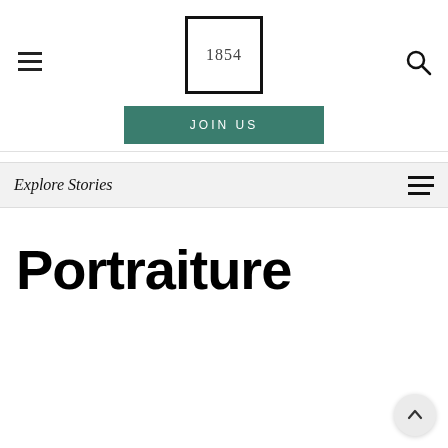1854 — navigation header with hamburger menu, logo box with '1854', and search icon
JOIN US
Explore Stories
Portraiture